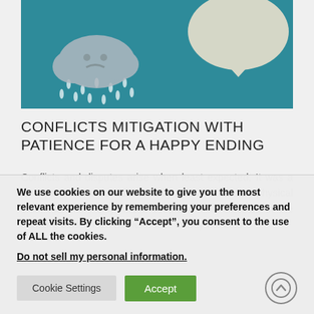[Figure (illustration): Illustrated hero image on a teal/blue-green background. Left side shows a grey sad cloud with a frowning face and rain drops. Right side shows a cream/beige speech bubble shape.]
CONFLICTS MITIGATION WITH PATIENCE FOR A HAPPY ENDING
Conflicts and disputes arise when least expected. It was a long day from one medical facility to another for my physical examinations. I only had a couple of Ritz crackers in the morning before I left home. It was twenty minutes
We use cookies on our website to give you the most relevant experience by remembering your preferences and repeat visits. By clicking “Accept”, you consent to the use of ALL the cookies.
Do not sell my personal information.